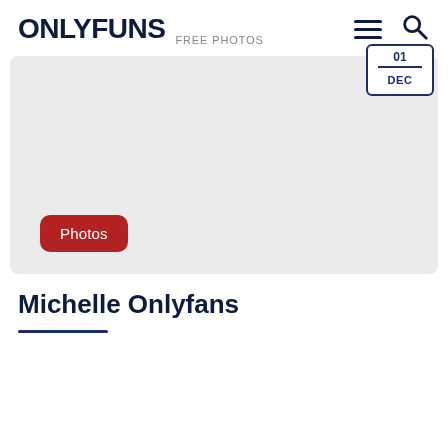ONLYFUNS FREE PHOTOS
[Figure (screenshot): Gray placeholder image with a red 'Photos' badge button at the bottom left, and a date badge showing 'DEC' at the top right]
Michelle Onlyfans